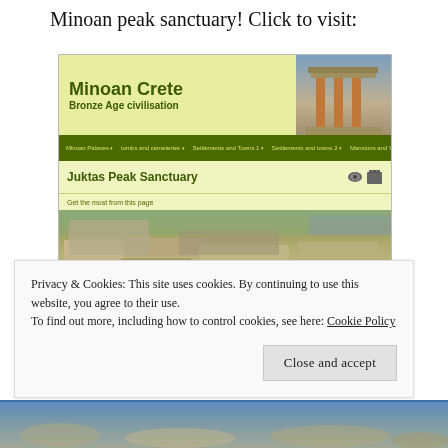Minoan peak sanctuary! Click to visit:
[Figure (screenshot): Screenshot of 'Minoan Crete Bronze Age civilisation' website showing the Juktas Peak Sanctuary page with navigation menu, page title, and ruins photograph]
Privacy & Cookies: This site uses cookies. By continuing to use this website, you agree to their use.
To find out more, including how to control cookies, see here: Cookie Policy
[Figure (photo): Bottom strip showing rocks/ruins photograph]